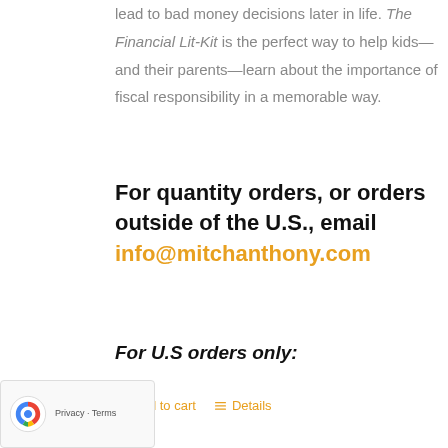lead to bad money decisions later in life. The Financial Lit-Kit is the perfect way to help kids—and their parents—learn about the importance of fiscal responsibility in a memorable way.
For quantity orders, or orders outside of the U.S., email info@mitchanthony.com
For U.S orders only:
Add to cart   Details